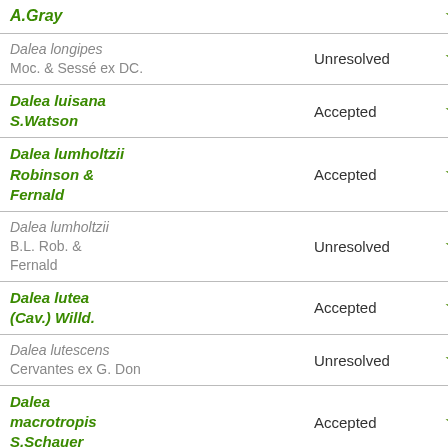| Name | Status | Rating |
| --- | --- | --- |
| A.Gray |  | ★★ |
| Dalea longipes Moc. & Sessé ex DC. | Unresolved | ★☆ |
| Dalea luisana S.Watson | Accepted | ★★ |
| Dalea lumholtzii Robinson & Fernald | Accepted | ★★ |
| Dalea lumholtzii B.L. Rob. & Fernald | Unresolved | ★☆ |
| Dalea lutea (Cav.) Willd. | Accepted | ★★ |
| Dalea lutescens Cervantes ex G. Don | Unresolved | ★☆ |
| Dalea macrotropis S.Schauer | Accepted | ★★ |
| Dalea mcvaughii Reveal | Accepted | ★★ |